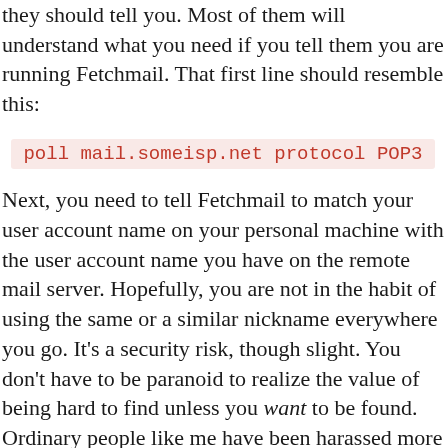they should tell you. Most of them will understand what you need if you tell them you are running Fetchmail. That first line should resemble this:
Next, you need to tell Fetchmail to match your user account name on your personal machine with the user account name you have on the remote mail server. Hopefully, you are not in the habit of using the same or a similar nickname everywhere you go. It's a security risk, though slight. You don't have to be paranoid to realize the value of being hard to find unless you want to be found. Ordinary people like me have been harassed more than once. So you start this next line indented somewhat (about 8 spaces will do) and tell Fetchmail that user so-and-so on the distant machine is the same as you